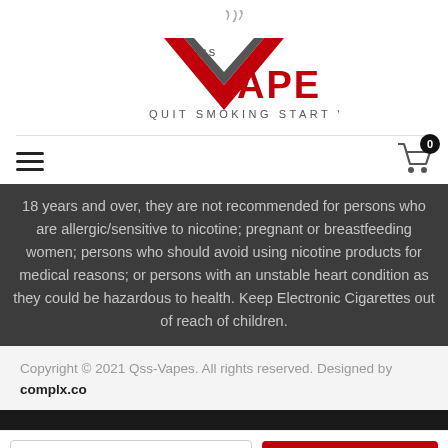[Figure (logo): QSS Vape logo with stylized V and smoke, tagline QUIT SMOKING START VAPING]
18 years and over, they are not recommended for persons who are allergic/sensitive to nicotine; pregnant or breastfeeding women; persons who should avoid using nicotine products for medical reasons; or persons with an unstable heart condition as they could be hazardous to health. Keep Electronic Cigarettes out of reach of children.
Copyright © 2021 Qss-Vapes. All rights reserved. Designed by complx.co
0mg / None / Fruity, Menthol £1 ∨   ADD TO CART